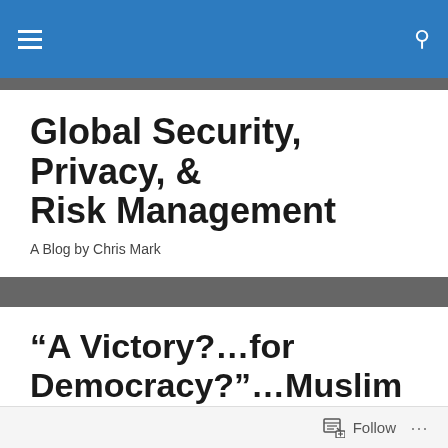Global Security, Privacy, & Risk Management — A Blog by Chris Mark
Global Security, Privacy, & Risk Management
A Blog by Chris Mark
“A Victory?…for Democracy?”…Muslim Brotherhood Wins Egyption Presidency
Posted by Chris Mark